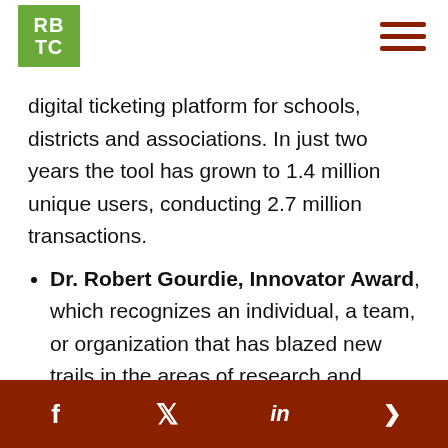RBTC logo and hamburger menu
digital ticketing platform for schools, districts and associations. In just two years the tool has grown to 1.4 million unique users, conducting 2.7 million transactions.
Dr. Robert Gourdie, Innovator Award, which recognizes an individual, a team, or organization that has blazed new trails in the areas of research and innovation. Gourdie is an entrepreneur
f  Twitter  in  share